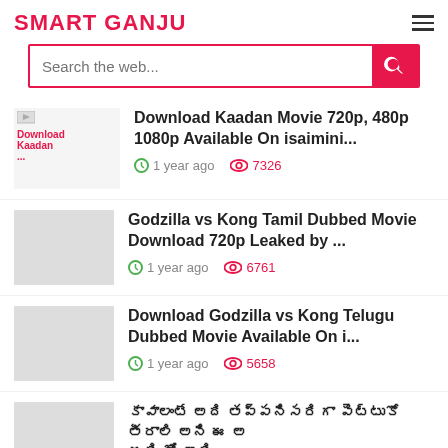SMART GANJU
Download Kaadan Movie 720p, 480p 1080p Available On isaimini... | 1 year ago | 7326
Godzilla vs Kong Tamil Dubbed Movie Download 720p Leaked by ... | 1 year ago | 6761
Download Godzilla vs Kong Telugu Dubbed Movie Available On i... | 1 year ago | 5658
[Telugu text article title - partially visible]